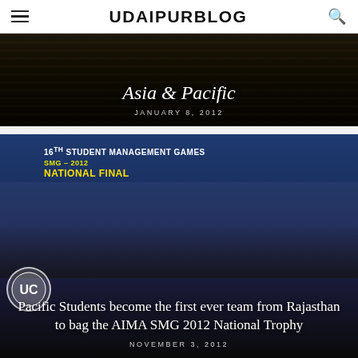UDAIPURBLOG
[Figure (photo): Dark background image with horizontal light reflections, overlaid with title 'Asia & Pacific' and date 'JANUARY 8, 2012']
Asia & Pacific
JANUARY 8, 2012
[Figure (photo): Group photo at 16th Student Management Games SMG-2012 National Final event with trophy, overlaid with article title and date]
Pacific Students become the first ever team from Rajasthan to bag the AIMA SMG 2012 National Trophy
NOVEMBER 3, 2012